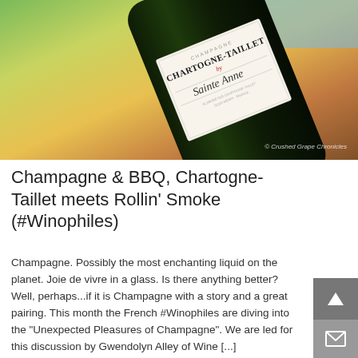[Figure (photo): Close-up photo of a Champagne Chartogne-Taillet Sainte Anne bottle against a colorful blurred background with green, yellow, orange tones. The white label shows 'CHAMPAGNE' at top, 'CHARTOGNE-TAILLET' in bold, with cursive 'Sainte Anne' script. A watermark reads '© Crushed Grape Chronicles'.]
Champagne & BBQ, Chartogne-Taillet meets Rollin' Smoke (#Winophiles)
Champagne. Possibly the most enchanting liquid on the planet. Joie de vivre in a glass. Is there anything better? Well, perhaps...if it is Champagne with a story and a great pairing. This month the French #Winophiles are diving into the "Unexpected Pleasures of Champagne". We are led for this discussion by Gwendolyn Alley of Wine [...]